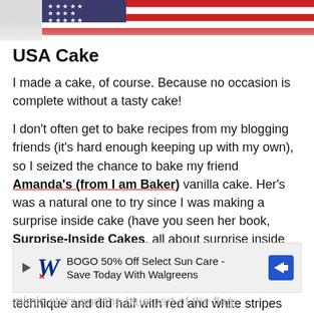[Figure (photo): Top of page showing partial image of USA flag/cake decoration in red, white and blue]
USA Cake
I made a cake, of course. Because no occasion is complete without a tasty cake!
I don't often get to bake recipes from my blogging friends (it's hard enough keeping up with my own), so I seized the chance to bake my friend Amanda's (from I am Baker) vanilla cake. Her's was a natural one to try since I was making a surprise inside cake (have you seen her book, Surprise-Inside Cakes, all about surprise inside cakes? I have it. It's awesome).
I decorated the outside of the cake using the petal technique and did half with red and white stripes and ... mimic stars and the blue part of the flag.
[Figure (screenshot): Advertisement banner: BOGO 50% Off Select Sun Care - Save Today With Walgreens, with Walgreens W logo]